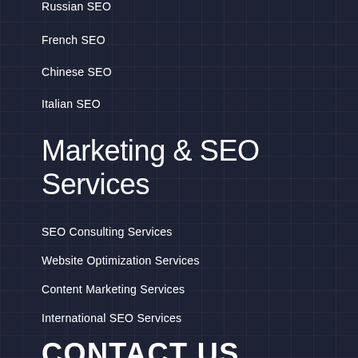Russian SEO
French SEO
Chinese SEO
Italian SEO
Marketing & SEO Services
SEO Consulting Services
Website Optimization Services
Content Marketing Services
International SEO Services
CONTACT US